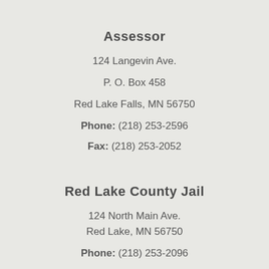Assessor
124 Langevin Ave.
P. O. Box 458
Red Lake Falls, MN 56750
Phone: (218) 253-2596
Fax: (218) 253-2052
Red Lake County Jail
124 North Main Ave.
Red Lake, MN 56750
Phone: (218) 253-2096